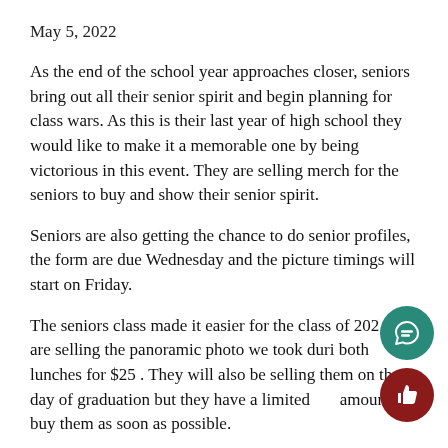May 5, 2022
As the end of the school year approaches closer, seniors bring out all their senior spirit and begin planning for class wars. As this is their last year of high school they would like to make it a memorable one by being victorious in this event. They are selling merch for the seniors to buy and show their senior spirit.
Seniors are also getting the chance to do senior profiles, the form are due Wednesday and the picture timings will start on Friday.
The seniors class made it easier for the class of 202 and are selling the panoramic photo we took duri both lunches for $25 . They will also be selling them on the day of graduation but they have a limited amount so buy them as soon as possible.